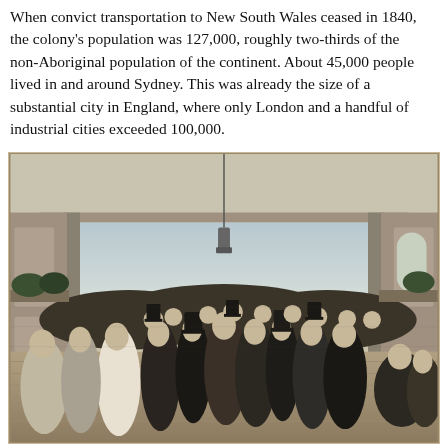When convict transportation to New South Wales ceased in 1840, the colony's population was 127,000, roughly two-thirds of the non-Aboriginal population of the continent. About 45,000 people lived in and around Sydney. This was already the size of a substantial city in England, where only London and a handful of industrial cities exceeded 100,000.
[Figure (illustration): A black and white engraving depicting a crowded indoor gathering scene from the Victorian era. A large hall or assembly room is filled with many people, mostly women in period dresses and men in top hats, mingling and socializing. The room has wooden floors, columns, and a hanging lamp from the ceiling.]